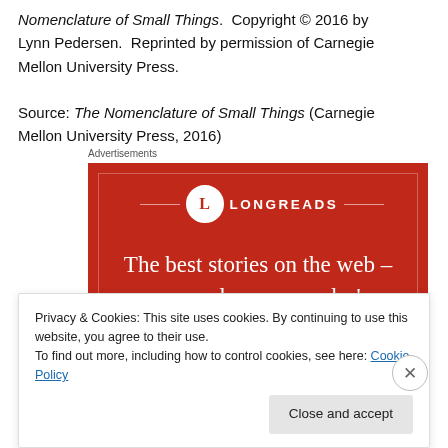Nomenclature of Small Things. Copyright © 2016 by Lynn Pedersen. Reprinted by permission of Carnegie Mellon University Press.
Source: The Nomenclature of Small Things (Carnegie Mellon University Press, 2016)
Advertisements
[Figure (other): Longreads advertisement banner on red background with logo circle containing 'L', decorative horizontal lines, brand name 'LONGREADS' and tagline 'The best stories on the web – ours, and everyone else's.']
Privacy & Cookies: This site uses cookies. By continuing to use this website, you agree to their use.
To find out more, including how to control cookies, see here: Cookie Policy